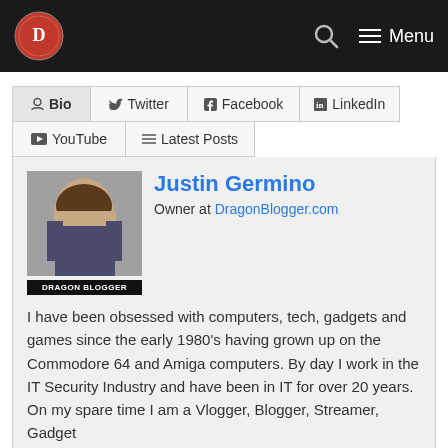Dragon Blogger site header with logo, search icon, and Menu button
Bio
Twitter
Facebook
LinkedIn
YouTube
Latest Posts
Justin Germino
Owner at DragonBlogger.com
I have been obsessed with computers, tech, gadgets and games since the early 1980's having grown up on the Commodore 64 and Amiga computers. By day I work in the IT Security Industry and have been in IT for over 20 years. On my spare time I am a Vlogger, Blogger, Streamer, Gadget